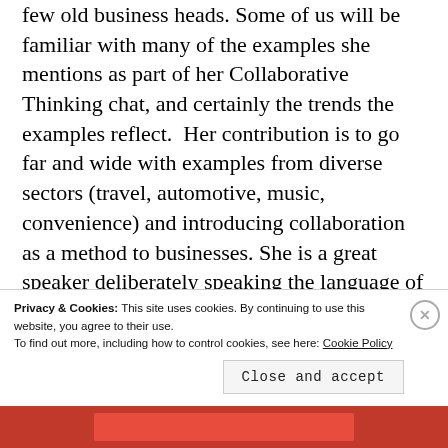few old business heads. Some of us will be familiar with many of the examples she mentions as part of her Collaborative Thinking chat, and certainly the trends the examples reflect.  Her contribution is to go far and wide with examples from diverse sectors (travel, automotive, music, convenience) and introducing collaboration as a method to businesses. She is a great speaker deliberately speaking the language of business. (follow twitter
Privacy & Cookies: This site uses cookies. By continuing to use this website, you agree to their use.
To find out more, including how to control cookies, see here: Cookie Policy
Close and accept